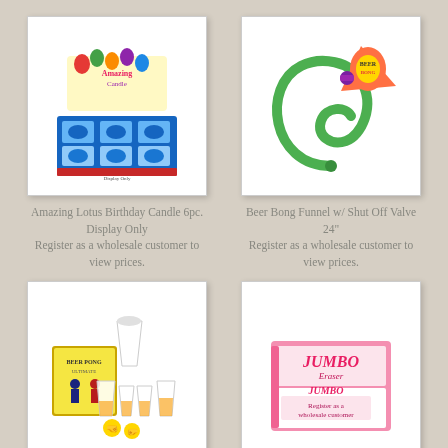[Figure (photo): Amazing Lotus Birthday Candle 6pc. Display Only — product photo showing a display box with 6 birthday candles]
[Figure (photo): Beer Bong Funnel w/ Shut Off Valve 24" — product photo showing a green tube funnel with orange cone and yellow tag]
Amazing Lotus Birthday Candle 6pc. Display Only Register as a wholesale customer to view prices.
Beer Bong Funnel w/ Shut Off Valve 24" Register as a wholesale customer to view prices.
[Figure (photo): Beer Pong Ultimate product photo showing cups and game box]
[Figure (photo): Big Mistake Eraser CDU product photo showing pink display box]
Beer Pong Ultimate
Big Mistake Eraser CDU